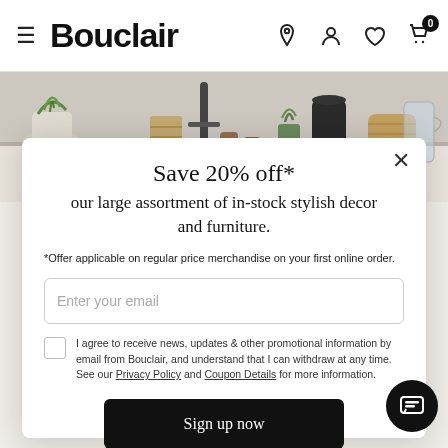Bouclair
[Figure (photo): Hero banner showing kitchen/home decor items including plants, candles, and decorative vessels on a countertop]
Save 20% off*
our large assortment of in-stock stylish decor and furniture.
*Offer applicable on regular price merchandise on your first online order.
Enter your email
I agree to receive news, updates & other promotional information by email from Bouclair, and understand that I can withdraw at any time. See our Privacy Policy and Coupon Details for more information.
Sign up now